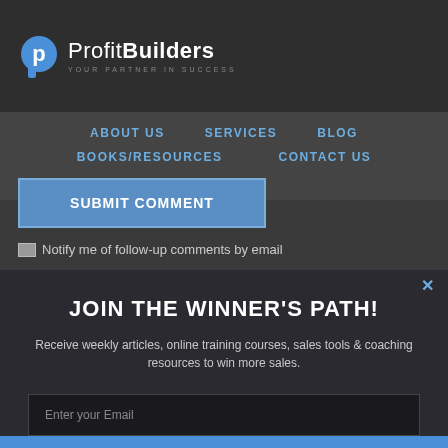[Figure (logo): ProfitBuilders logo with blue 'p' icon and text 'Profit Builders — your partner in success']
ABOUT US   SERVICES   BLOG
BOOKS/RESOURCES   CONTACT US
SUBMIT COMMENT
Notify me of follow-up comments by email
JOIN THE WINNER'S PATH!
Receive weekly articles, online training courses, sales tools & coaching resources to win more sales.
Enter your Email